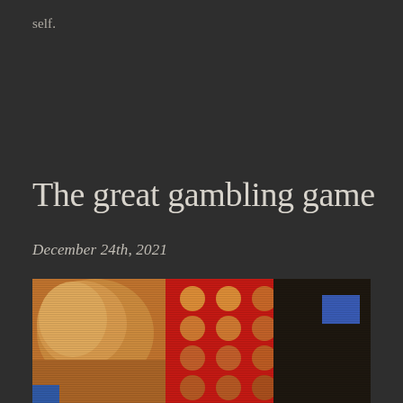self.
The great gambling game
December 24th, 2021
[Figure (photo): A blurry, low-resolution photograph showing a person on the left side with warm golden/orange tones, and a red polka-dot patterned fabric or object in the center, with a dark background on the right. The image appears pixelated and has horizontal scan lines.]